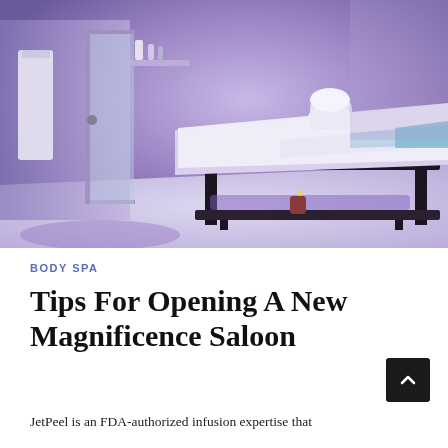[Figure (photo): A spa treatment room with a massage table covered in white linens with towels, illuminated by purple/blue ambient lighting. A glass shower enclosure is visible on the left side. A small red candle holder sits on a lower shelf of the massage table.]
BODY SPA
Tips For Opening A New Magnificence Saloon
JetPeel is an FDA-authorized infusion expertise that